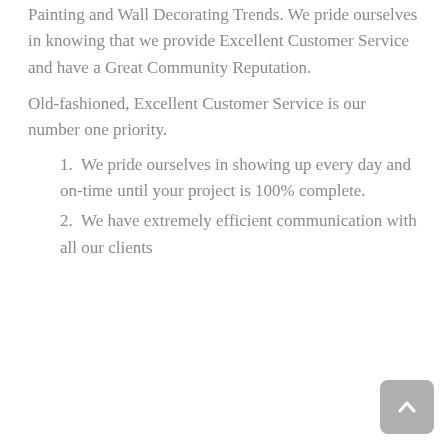Painting and Wall Decorating Trends. We pride ourselves in knowing that we provide Excellent Customer Service and have a Great Community Reputation.
Old-fashioned, Excellent Customer Service is our number one priority.
1. We pride ourselves in showing up every day and on-time until your project is 100% complete.
2. We have extremely efficient communication with all our clients